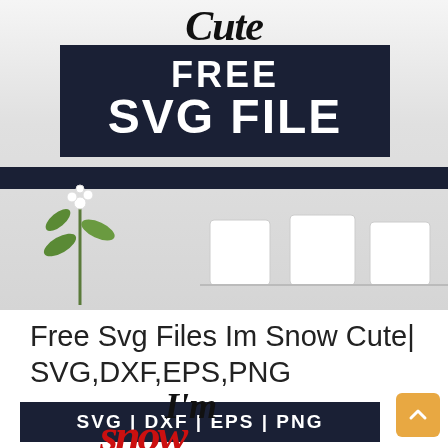[Figure (illustration): Promotional graphic for free SVG file with dark banner saying FREE SVG FILE, cursive text at top, and background photo of white flowers on a shelf]
Free Svg Files Im Snow Cute| SVG,DXF,EPS,PNG
[Figure (infographic): Dark navy bar with white bold text: SVG | DXF | EPS | PNG]
[Figure (illustration): Bottom portion showing cursive 'I'm' in black and cursive red text below it, partially cropped]